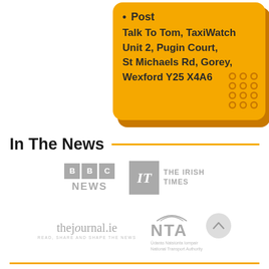Post
Talk To Tom, TaxiWatch
Unit 2, Pugin Court,
St Michaels Rd, Gorey,
Wexford Y25 X4A6
In The News
[Figure (logo): BBC News logo (greyed out)]
[Figure (logo): The Irish Times logo (greyed out)]
[Figure (logo): thejournal.ie logo (greyed out)]
[Figure (logo): NTA - Údarás Náisiúnta Iompair / National Transport Authority logo (greyed out)]